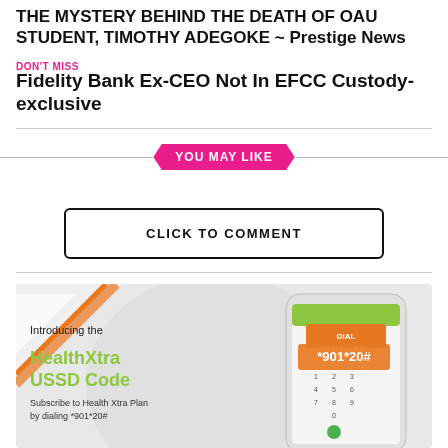THE MYSTERY BEHIND THE DEATH OF OAU STUDENT, TIMOTHY ADEGOKE ~ Prestige News
DON'T MISS
Fidelity Bank Ex-CEO Not In EFCC Custody-exclusive
YOU MAY LIKE
CLICK TO COMMENT
[Figure (infographic): HealthXtra USSD Code advertisement showing a phone with dial *901*20# and text: Introducing the HealthXtra USSD Code. Subscribe to Health Xtra Plan by dialing *901*20#]